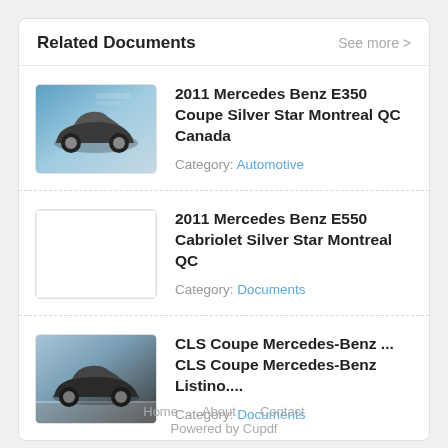Related Documents
See more >
[Figure (photo): Thumbnail of a silver/dark Mercedes Benz E350 Coupe car on a light blue background]
2011 Mercedes Benz E350 Coupe Silver Star Montreal QC Canada
Category: Automotive
[Figure (photo): Empty white thumbnail placeholder]
2011 Mercedes Benz E550 Cabriolet Silver Star Montreal QC
Category: Documents
[Figure (photo): Thumbnail of a dark grey CLS Coupe Mercedes-Benz car on a road]
CLS Coupe Mercedes-Benz ... CLS Coupe Mercedes-Benz Listino....
Category: Documents
Home   About   Contact
Powered by Cupdf